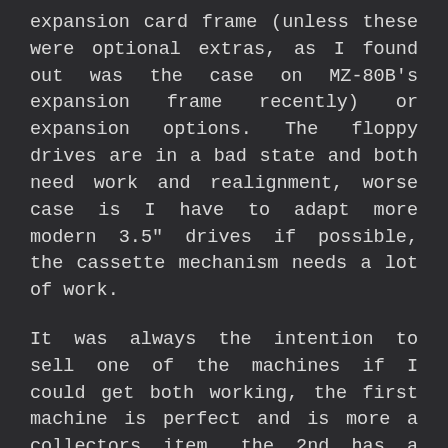expansion card frame (unless these were optional extras, as I found out was the case on MZ-80B's expansion frame recently) or expansion options. The floppy drives are in a bad state and both need work and realignment, worse case is I have to adapt more modern 3.5" drives if possible, the cassette mechanism needs a lot of work.
It was always the intention to sell one of the machines if I could get both working, the first machine is perfect and is more a collectors item, the 2nd has a working motherboard and suitable for testing and development projects but not really for sale other than 'junk'! My thinking is thus to sell the first machine for the right price, I prefer to keep it for myself but if a collector is interested then I'm willing to part with it. That being said, it is dependent on getting the 2nd machine to a useable state, if this is not achievable then I will keep the first otherwise it means buying a third MZ-2500 from Japan (when they come up for auction) and taking another risk that it will work. Watch